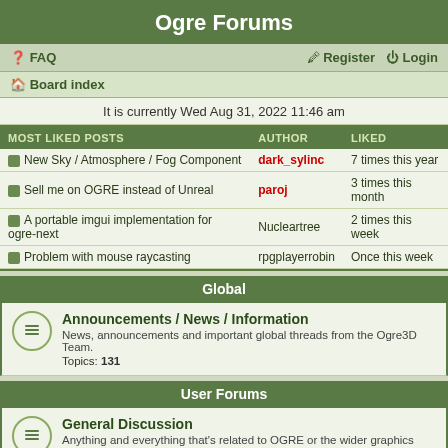Ogre Forums
FAQ   Register   Login
Board index
It is currently Wed Aug 31, 2022 11:46 am
| MOST LIKED POSTS | AUTHOR | LIKED |
| --- | --- | --- |
| New Sky / Atmosphere / Fog Component | dark_sylinc | 7 times this year |
| Sell me on OGRE instead of Unreal | paroj | 3 times this month |
| A portable imgui implementation for ogre-next | Nucleartree | 2 times this week |
| Problem with mouse raycasting | rpgplayerrobin | Once this week |
Global
Announcements / News / Information
News, announcements and important global threads from the Ogre3D Team.
Topics: 131
User Forums
General Discussion
Anything and everything that's related to OGRE or the wider graphics field that doesn't fit into the other forums.
Topics: 8568
Help
Problems building or running the engine, queries about how to use features etc.
Topics: 38352